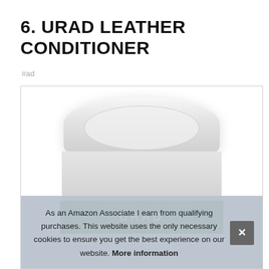6. URAD LEATHER CONDITIONER
#ad
[Figure (photo): A white cylindrical jar of URAD leather conditioner product, showing the top and side of the container, with a green label at the bottom partially visible.]
As an Amazon Associate I earn from qualifying purchases. This website uses the only necessary cookies to ensure you get the best experience on our website. More information